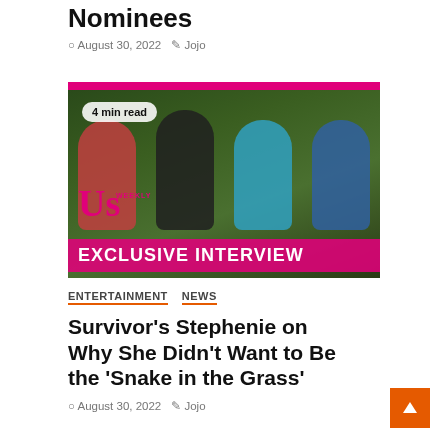Nominees
August 30, 2022  Jojo
[Figure (photo): US Weekly Exclusive Interview image showing four women in outdoor/military gear in a forest setting, with pink banner at top and 'EXCLUSIVE INTERVIEW' text at bottom. Badge reads '4 min read'.]
ENTERTAINMENT  NEWS
Survivor's Stephenie on Why She Didn't Want to Be the 'Snake in the Grass'
August 30, 2022  Jojo